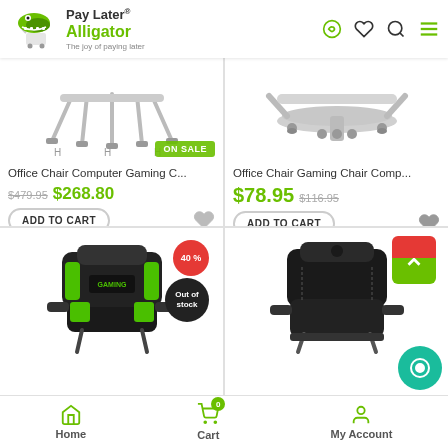[Figure (screenshot): Pay Later Alligator e-commerce website screenshot showing product grid with gaming chairs and navigation]
Office Chair Computer Gaming C...
$479.95  $268.80
Office Chair Gaming Chair Comp...
$78.95  $116.95
Home   Cart   My Account